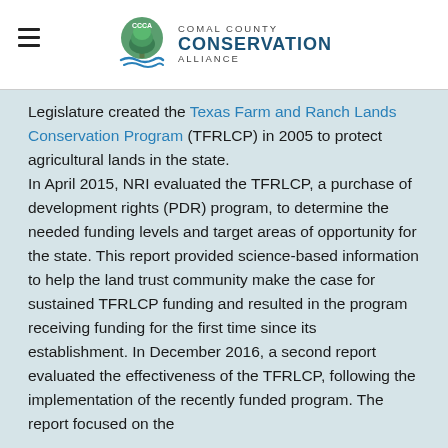Comal County Conservation Alliance
Legislature created the Texas Farm and Ranch Lands Conservation Program (TFRLCP) in 2005 to protect agricultural lands in the state.
In April 2015, NRI evaluated the TFRLCP, a purchase of development rights (PDR) program, to determine the needed funding levels and target areas of opportunity for the state. This report provided science-based information to help the land trust community make the case for sustained TFRLCP funding and resulted in the program receiving funding for the first time since its establishment. In December 2016, a second report evaluated the effectiveness of the TFRLCP, following the implementation of the recently funded program. The report focused on the